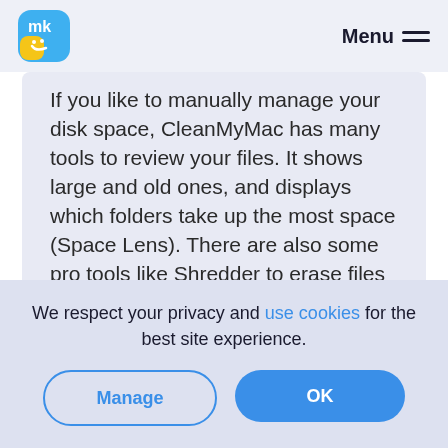mk [logo] Menu
If you like to manually manage your disk space, CleanMyMac has many tools to review your files. It shows large and old ones, and displays which folders take up the most space (Space Lens). There are also some pro tools like Shredder to erase files forever.
Maintenance
We respect your privacy and use cookies for the best site experience.
Manage | OK